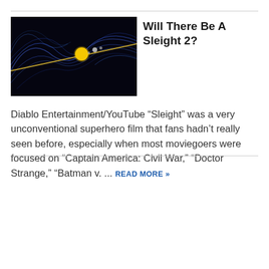[Figure (photo): Dark background image with blue curved lines and a bright yellow circle, appearing to show a solar system or space/physics visualization. A diagonal gold/yellow line crosses the image.]
Will There Be A Sleight 2?
Diablo Entertainment/YouTube “Sleight” was a very unconventional superhero film that fans hadn’t really seen before, especially when most moviegoers were focused on “Captain America: Civil War,” “Doctor Strange,” “Batman v. ... READ MORE »